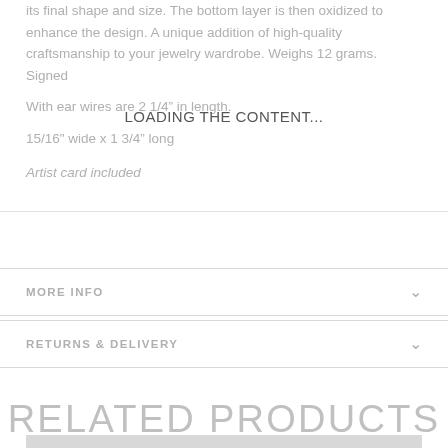its final shape and size. The bottom layer is then oxidized to enhance the design. A unique addition of high-quality craftsmanship to your jewelry wardrobe. Weighs 12 grams. Signed
With ear wires are 2 1/4” in length.
15/16" wide x 1 3/4” long
Artist card included
LOADING THE CONTENT...
MORE INFO
RETURNS & DELIVERY
RELATED PRODUCTS